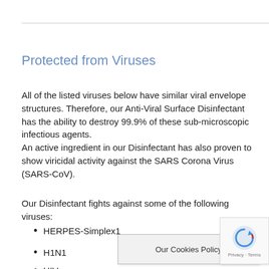Protected from Viruses
All of the listed viruses below have similar viral envelope structures. Therefore, our Anti-Viral Surface Disinfectant has the ability to destroy 99.9% of these sub-microscopic infectious agents.
An active ingredient in our Disinfectant has also proven to show viricidal activity against the SARS Corona Virus (SARS-CoV).
Our Disinfectant fights against some of the following viruses:
HERPES-Simplex1
H1N1
HIV
Hepatitis B